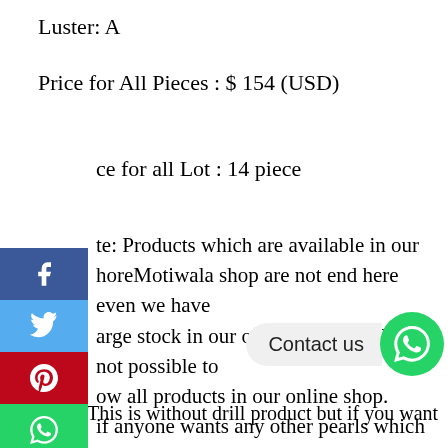Luster: A
Price for All Pieces : $ 154 (USD)
ce for all Lot : 14 piece
te: Products which are available in our horeMotiwala shop are not end here even we have arge stock in our offline shop. Itâ€™s not possible to ow all products in our online shop. if anyone wants any other pearls which are not ailable in our online shop then can contact us ough KishoreMotiwala conversation or Whatsapp. Our whatsapp number is 9983608124. We will always try to provide products according to your interest.
Note: This is without drill product but if you want half